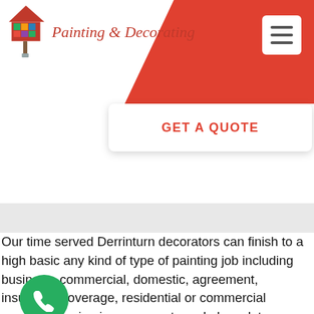[Figure (logo): Painting & Decorating logo with house icon and paintbrush]
[Figure (infographic): Hamburger menu button (three horizontal lines) on white rounded square background]
[Figure (infographic): GET A QUOTE white button with red text on white card with shadow]
Our time served Derrinturn decorators can finish to a high basic any kind of type of painting job including business, commercial, domestic, agreement, insurance coverage, residential or commercial property repairs, improvements and also a lot more.
Trying to find skilled painting as well as enhancing Derrinturn for
[Figure (infographic): Green circular phone/call button]